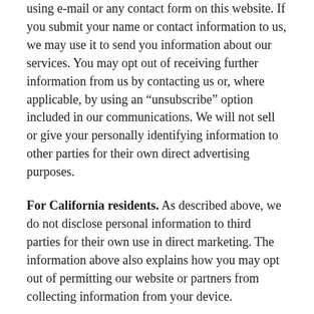using e-mail or any contact form on this website. If you submit your name or contact information to us, we may use it to send you information about our services. You may opt out of receiving further information from us by contacting us or, where applicable, by using an “unsubscribe” option included in our communications. We will not sell or give your personally identifying information to other parties for their own direct advertising purposes.
For California residents. As described above, we do not disclose personal information to third parties for their own use in direct marketing. The information above also explains how you may opt out of permitting our website or partners from collecting information from your device.
Changes to this policy. We reserve the right to update this policy. If we make updates, we will change the modification date below.